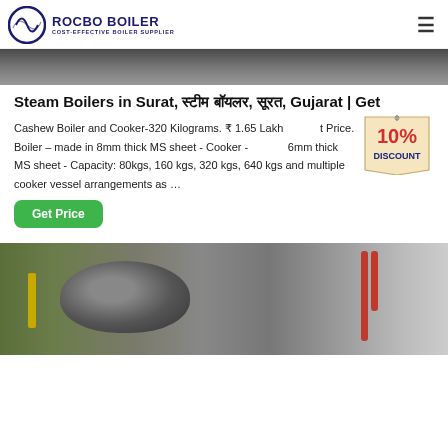ROCBO BOILER - COST-EFFECTIVE BOILER SUPPLIER
[Figure (photo): Top portion of a boiler installation photo, dark industrial setting]
Steam Boilers in Surat, स्टीम बॉयलर, सूरत, Gujarat | Get
Cashew Boiler and Cooker-320 Kilograms. ₹ 1.65 Lakh st Price. Boiler – made in 8mm thick MS sheet - Cooker - 6mm thick MS sheet - Capacity: 80kgs, 160 kgs, 320 kgs, 640 kgs and multiple cooker vessel arrangements as …
[Figure (infographic): 10% DISCOUNT badge in red and blue text on beige tag background]
Get Price
[Figure (photo): Industrial boiler equipment inside a facility, showing large cylindrical boiler and red piping]